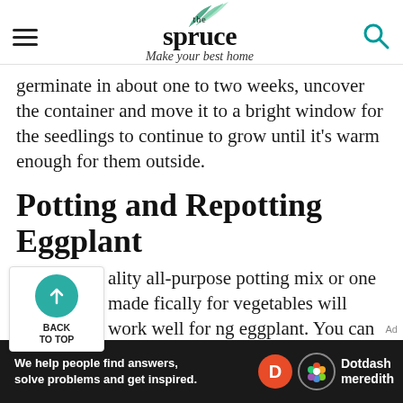the spruce — Make your best home
germinate in about one to two weeks, uncover the container and move it to a bright window for the seedlings to continue to grow until it's warm enough for them outside.
Potting and Repotting Eggplant
ality all-purpose potting mix or one made fically for vegetables will work well for ng eggplant. You can repot seedlings after reach at least four inches tall into a
[Figure (other): Back to Top navigation button — teal circle with upward arrow, label BACK TO TOP]
[Figure (other): Advertisement banner — black background with text 'We help people find answers, solve problems and get inspired.' with Dotdash Meredith logo]